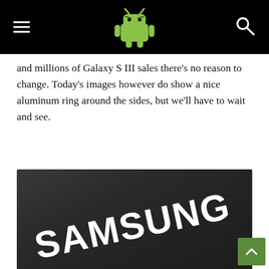[AndroidAuthority logo header with hamburger menu and search icon]
and millions of Galaxy S III sales there's no reason to change. Today's images however do show a nice aluminum ring around the sides, but we'll have to wait and see.
[Figure (photo): Close-up photo of a dark brushed metal Samsung device surface with the white SAMSUNG logo embossed on it at an angle]
Another important thing we've not mentioned much is addition of better wireless radios. Many tablets now